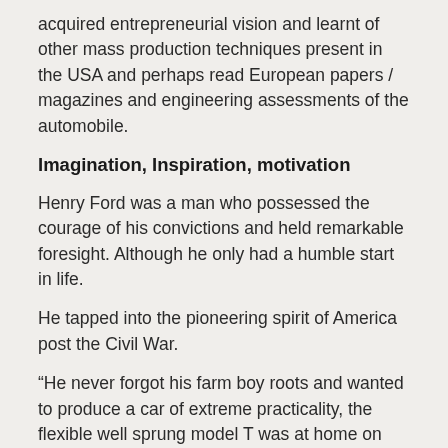acquired entrepreneurial vision and learnt of other mass production techniques present in the USA and perhaps read European papers / magazines and engineering assessments of the automobile.
Imagination, Inspiration, motivation
Henry Ford was a man who possessed the courage of his convictions and held remarkable foresight. Although he only had a humble start in life.
He tapped into the pioneering spirit of America post the Civil War.
“He never forgot his farm boy roots and wanted to produce a car of extreme practicality, the flexible well sprung model T was at home on the unmade rural roads that covered America at the time”
Henry Ford has been credited with remarking